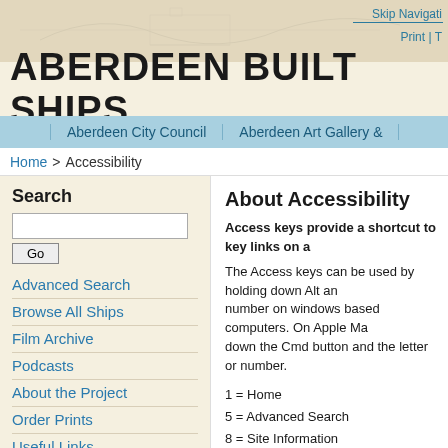Skip Navigation | Print
ABERDEEN BUILT SHIPS
Aberdeen City Council | Aberdeen Art Gallery &
Home > Accessibility
Search
Advanced Search
Browse All Ships
Film Archive
Podcasts
About the Project
Order Prints
Useful Links
Contact Us
A Brief History of Aberdeen's Shipbuilders
About Accessibility
Access keys provide a shortcut to key links on a
The Access keys can be used by holding down Alt and the letter or number on windows based computers. On Apple Macs, hold down the Cmd button and the letter or number.
1 = Home
5 = Advanced Search
8 = Site Information
9 = Contact Us
0 = Access key details / Accessibility
The following accesskey is not covered by the UK Government access keys standard:
S = Skip Navigation